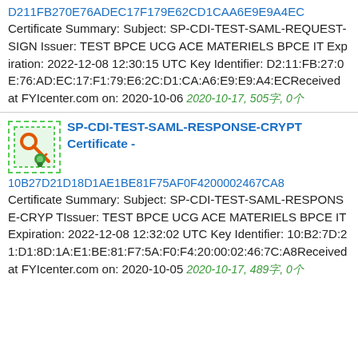D211FB270E76ADEC17F179E62CD1CAA6E9E9A4EC Certificate Summary: Subject: SP-CDI-TEST-SAML-REQUEST-SIGN Issuer: TEST BPCE UCG ACE MATERIELS BPCE IT Expiration: 2022-12-08 12:30:15 UTC Key Identifier: D2:11:FB:27:0E:76:AD:EC:17:F1:79:E6:2C:D1:CA:A6:E9:E9:A4:ECReceived at FYIcenter.com on: 2020-10-06 2020-10-17, 505字, 0个
[Figure (illustration): Green certificate/key icon with orange key and green ribbon/seal]
SP-CDI-TEST-SAML-RESPONSE-CRYPT Certificate - 10B27D21D18D1AE1BE81F75AF0F4200002467CA8 Certificate Summary: Subject: SP-CDI-TEST-SAML-RESPONSE-CRYP TIssuer: TEST BPCE UCG ACE MATERIELS BPCE IT Expiration: 2022-12-08 12:32:02 UTC Key Identifier: 10:B2:7D:21:D1:8D:1A:E1:BE:81:F7:5A:F0:F4:20:00:02:46:7C:A8Received at FYIcenter.com on: 2020-10-05 2020-10-17, 489字, 0个